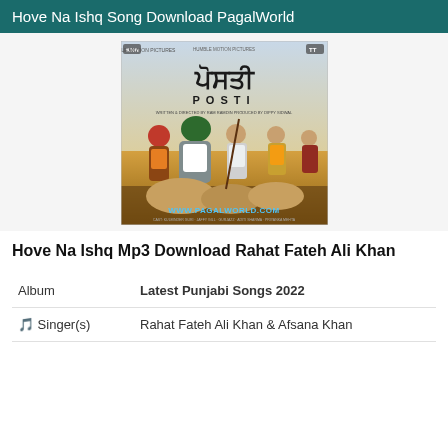Hove Na Ishq Song Download PagalWorld
[Figure (photo): Movie poster for Posti (Punjabi film) showing four men in Punjabi attire standing/sitting in a field. The poster shows Punjabi text 'ਪੋਸਤੀ' and English text 'POSTI'. Bottom has watermark WWW.PAGALWORLD.COM]
Hove Na Ishq Mp3 Download Rahat Fateh Ali Khan
| Album | Latest Punjabi Songs 2022 |
| 🎵 Singer(s) | Rahat Fateh Ali Khan & Afsana Khan |